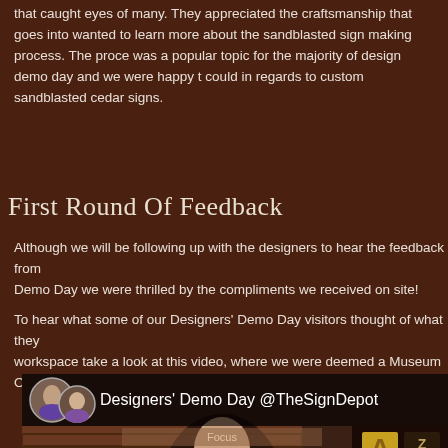that caught eyes of many. They appreciated the craftsmanship that goes into [and] wanted to learn more about the sandblasted sign making process. The proce[ss] was a popular topic for the majority of design demo day and we were happy t[o share what we] could in regards to custom sandblasted cedar signs.
First Round Of Feedback
Although we will be following up with the designers to hear the feedback from Demo Day we were thrilled by the compliments we received on site!
To hear what some of our Designers' Demo Day visitors thought of what they [saw in our] workspace take a look at this video, where we were deemed a Museum Of S[igns...]
[Figure (screenshot): YouTube video thumbnail showing 'Designers' Demo Day @TheSignDepot' with a play button overlay, two female avatars in top left, and a person looking upward in front of a brick wall with various signs.]